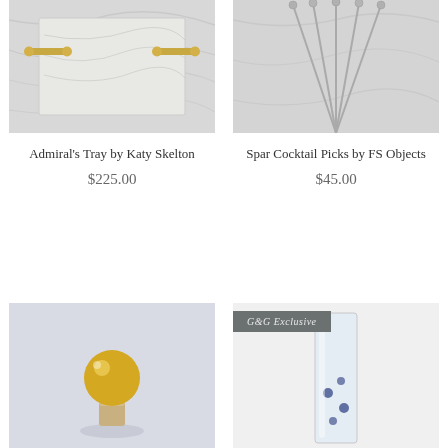[Figure (photo): Admiral's Tray by Katy Skelton - a marble tray with gold bar handles on a white surface, photographed at an angle]
[Figure (photo): Spar Cocktail Picks by FS Objects - silver cocktail picks with ball tops spread out on a marble surface]
Admiral's Tray by Katy Skelton
$225.00
Spar Cocktail Picks by FS Objects
$45.00
[Figure (photo): Gold sphere bottle stopper with cork, on a light grey surface]
[Figure (photo): Clear glass vase with blue dots/bubbles detail, with G&G Exclusive badge overlay]
G&G Exclusive